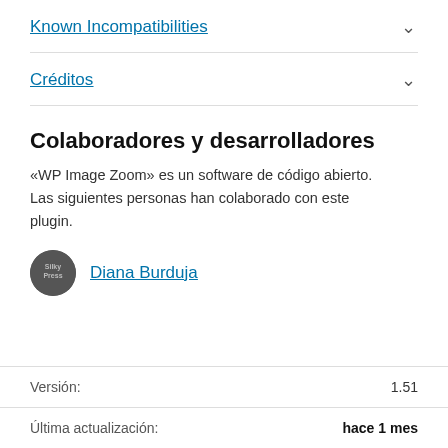Known Incompatibilities
Créditos
Colaboradores y desarrolladores
«WP Image Zoom» es un software de código abierto. Las siguientes personas han colaborado con este plugin.
Diana Burduja
Versión: 1.51
Última actualización: hace 1 mes